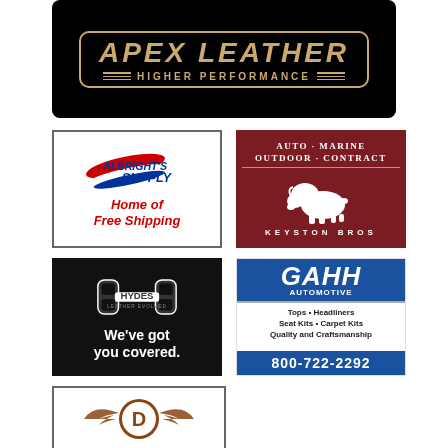[Figure (logo): Apex Leather Higher Performance logo on black background with gold/tan lettering and border]
[Figure (logo): Albright's Supply logo with swoosh graphic, Home of Free Shipping in red italic text, bordered box]
[Figure (logo): Keyston Bros logo on dark red background with white bison silhouette, Auto-Marine Outdoor-Contract text]
[Figure (logo): Hydes Leather Evolved logo on black background with stylized H icon, We've got you covered tagline]
[Figure (logo): GAHH Automotive logo on blue and white background, Tops Headliners Seat Kits Carpet Kits Quality and Craftsmanship, 800-722-2292]
[Figure (logo): Partial bottom logo with wings and circular emblem in brown/white on white background, partially visible]